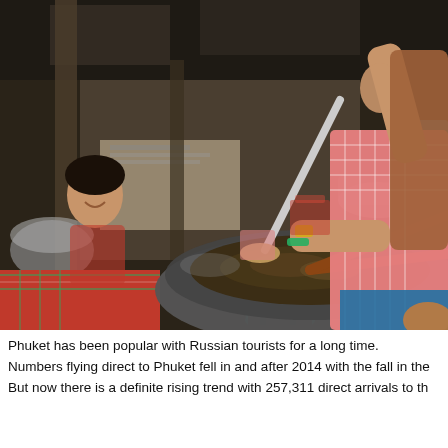[Figure (photo): A smiling woman in a pink checked shirt cooking in a large wok at an outdoor Thai street food stall. She holds a ladle in one hand and a wooden spatula in the other. A gas canister sits under the wok. Another woman is visible smiling in the background on the left. Various pots, containers, and market stall items are visible in the background.]
Phuket has been popular with Russian tourists for a long time.
Numbers flying direct to Phuket fell in and after 2014 with the fall in the
But now there is a definite rising trend with 257,311 direct arrivals to th